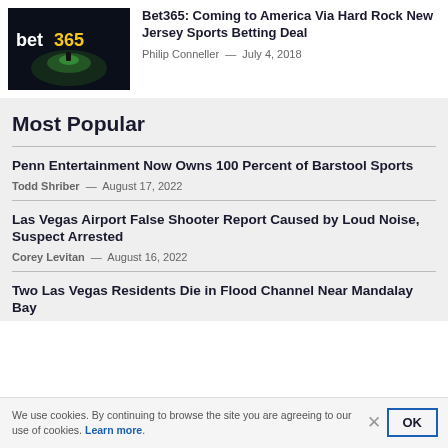[Figure (photo): Bet365 logo in yellow and white text on a dark blue/black background with a spotlight effect]
Bet365: Coming to America Via Hard Rock New Jersey Sports Betting Deal
Philip Conneller — July 4, 2018
Most Popular
Penn Entertainment Now Owns 100 Percent of Barstool Sports
Todd Shriber — August 17, 2022
Las Vegas Airport False Shooter Report Caused by Loud Noise, Suspect Arrested
Corey Levitan — August 16, 2022
Two Las Vegas Residents Die in Flood Channel Near Mandalay Bay
We use cookies. By continuing to browse the site you are agreeing to our use of cookies. Learn more.